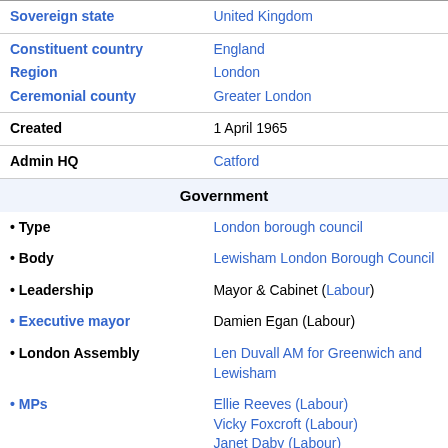| Label | Value |
| --- | --- |
| Sovereign state | United Kingdom |
| Constituent country | England |
| Region | London |
| Ceremonial county | Greater London |
| Created | 1 April 1965 |
| Admin HQ | Catford |
| Government |  |
| • Type | London borough council |
| • Body | Lewisham London Borough Council |
| • Leadership | Mayor & Cabinet (Labour) |
| • Executive mayor | Damien Egan (Labour) |
| • London Assembly | Len Duvall AM for Greenwich and Lewisham |
| • MPs | Ellie Reeves (Labour)
Vicky Foxcroft (Labour)
Janet Daby (Labour) |
| Area |  |
| • Total | 13.57 sq mi (35.15 km²) |
| • Rank | 292nd (of 309) |
| Population (mid-2019 est.) |  |